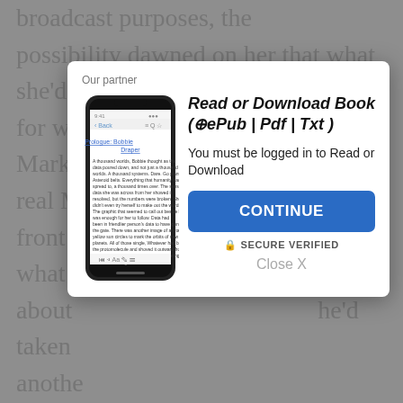broadcast purposes, the possibility dawned on her that what she'd fallen for was Mark h... the real M... front o... at what s... about ... he'd taken ... another... Mark w... Allie c... than with M... got thi... you'll just cut to the chase, I'll get back to keeping you a hit." Okay, that was below
[Figure (screenshot): Modal dialog overlay on a greyed-out book page. The modal has 'Our partner' label at top, a phone image showing a book page with 'Prologue: Bobbie Draper' link, and text 'Read or Download Book (⊕ePub | Pdf | Txt )'. Below: 'You must be logged in to Read or Download'. A blue CONTINUE button, a SECURE VERIFIED label with lock icon, and a 'Close X' link.]